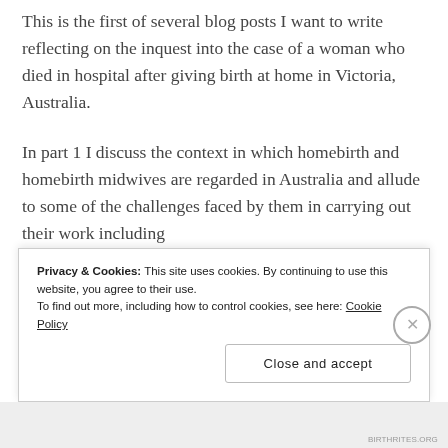This is the first of several blog posts I want to write reflecting on the inquest into the case of a woman who died in hospital after giving birth at home in Victoria, Australia.
In part 1 I discuss the context in which homebirth and homebirth midwives are regarded in Australia and allude to some of the challenges faced by them in carrying out their work including
Privacy & Cookies: This site uses cookies. By continuing to use this website, you agree to their use. To find out more, including how to control cookies, see here: Cookie Policy